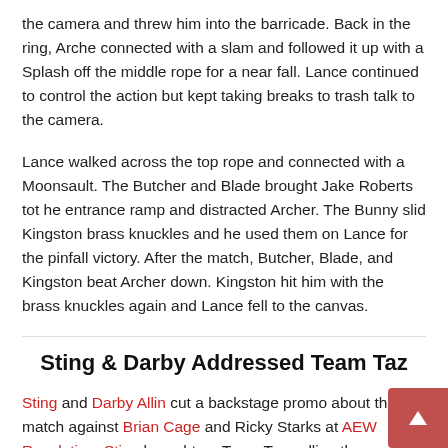the camera and threw him into the barricade. Back in the ring, Arche connected with a slam and followed it up with a Splash off the middle rope for a near fall. Lance continued to control the action but kept taking breaks to trash talk to the camera.
Lance walked across the top rope and connected with a Moonsault. The Butcher and Blade brought Jake Roberts tot he entrance ramp and distracted Archer. The Bunny slid Kingston brass knuckles and he used them on Lance for the pinfall victory. After the match, Butcher, Blade, and Kingston beat Archer down. Kingston hit him with the brass knuckles again and Lance fell to the canvas.
Sting & Darby Addressed Team Taz
Sting and Darby Allin cut a backstage promo about their match against Brian Cage and Ricky Starks at AEW Revolution. Sting brought up Team Taz calling them hoodlums and admitted that Darby was a hoodlum. Allin said in the streets, it doesn't matter about playing clean or